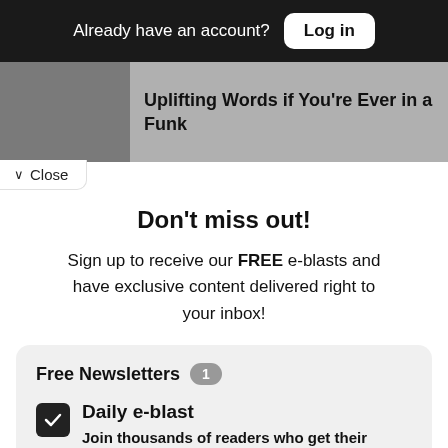Already have an account? Log in
Uplifting Words if You're Ever in a Funk
Close
Don't miss out!
Sign up to receive our FREE e-blasts and have exclusive content delivered right to your inbox!
Free Newsletters 1
Daily e-blast – Join thousands of readers who get their coverage on Black communities from the media company who has been doing it